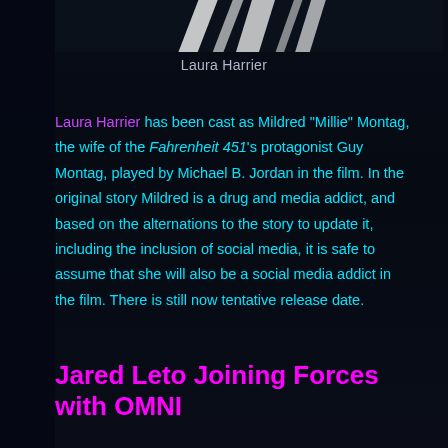[Figure (photo): Top portion of a photo showing white diagonal light streaks against a dark background, appears to be a partial image of a person with bright lighting effects]
Laura Harrier
Laura Harrier has been cast as Mildred "Millie" Montag, the wife of the Fahrenheit 451's protagonist Guy Montag, played by Michael B. Jordan in the film. In the original story Mildred is a drug and media addict, and based on the alternations to the story to update it, including the inclusion of social media, it is safe to assume that she will also be a social media addict in the film. There is still now tentative release date.
Jared Leto Joining Forces with OMNI